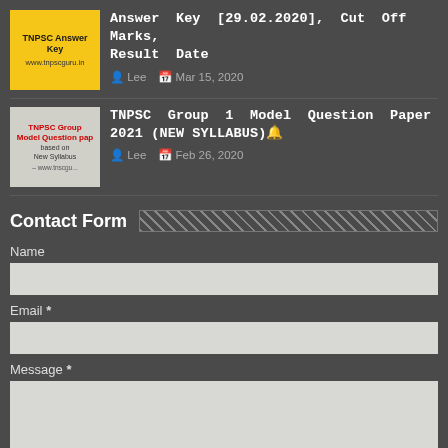[Figure (screenshot): TNPSC Answer Key thumbnail with yellow background showing text 'TNPSC Answer Key' and 'www.tnpscguru.in']
Answer Key [29.02.2020], Cut Off Marks, Result Date
Lee   Mar 15, 2020
[Figure (screenshot): TNPSC Group 1 Model Question Paper thumbnail with text about New Syllabus]
TNPSC Group 1 Model Question Paper 2021 (NEW SYLLABUS)🔔
Lee   Feb 26, 2020
Contact Form
Name
Email *
Message *
Send